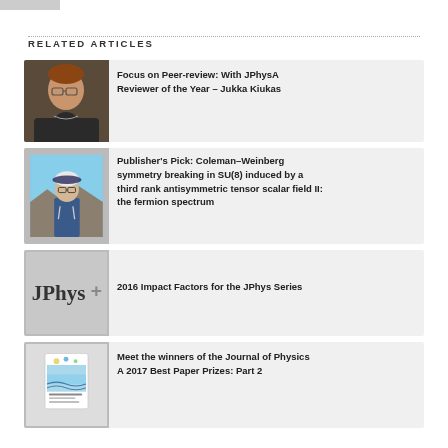RELATED ARTICLES
[Figure (photo): Headshot photo of Jukka Kiukas, a man with glasses and short dark hair]
Focus on Peer-review: With JPhysA Reviewer of the Year – Jukka Kiukas
[Figure (photo): Photo of an older man with glasses and silver hair outdoors]
Publisher's Pick: Coleman–Weinberg symmetry breaking in SU(8) induced by a third rank antisymmetric tensor scalar field II: the fermion spectrum
[Figure (logo): JPhys+ logo on grey background]
2016 Impact Factors for the JPhys Series
[Figure (illustration): Journal of Physics A cover image thumbnail]
Meet the winners of the Journal of Physics A 2017 Best Paper Prizes: Part 2